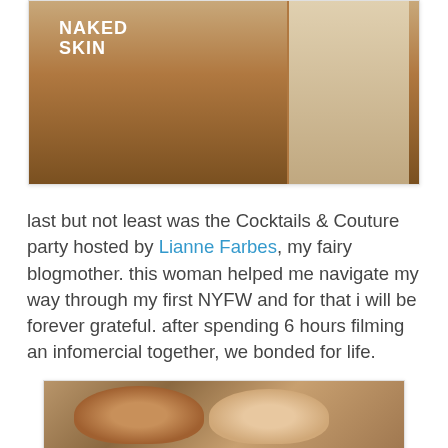[Figure (photo): Partial view of an orange vehicle/truck with 'NAKED SKIN' branding and a person visible on the right side]
last but not least was the Cocktails & Couture party hosted by Lianne Farbes, my fairy blogmother. this woman helped me navigate my way through my first NYFW and for that i will be forever grateful. after spending 6 hours filming an infomercial together, we bonded for life.
[Figure (photo): Two women posing together smiling at the camera — one with darker complexion wearing a patterned top, one with lighter complexion wearing a dark outfit]